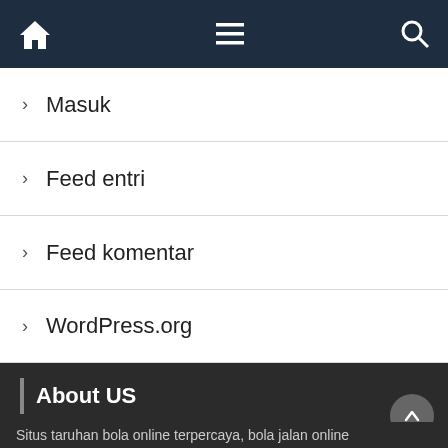Navigation bar with home, menu, and search icons
Masuk
Feed entri
Feed komentar
WordPress.org
About US
[Figure (logo): Palapabola logo — yellow diamond with a stylized P and soccer ball]
Situs taruhan bola online terpercaya, bola jalan online